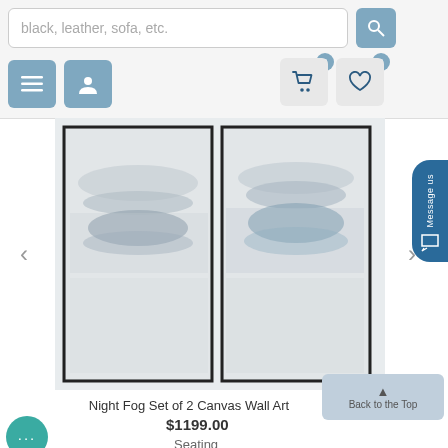[Figure (screenshot): E-commerce website header with search bar showing placeholder text 'black, leather, sofa, etc.', search button, menu button, user button, cart button (badge: 0), heart/wishlist button (badge: 0)]
[Figure (photo): Product image: Night Fog Set of 2 Canvas Wall Art — two tall vertical abstract paintings side by side with dark frames, featuring misty foggy landscape in grey and blue tones]
Night Fog Set of 2 Canvas Wall Art
$1199.00
Back to the Top
Seating